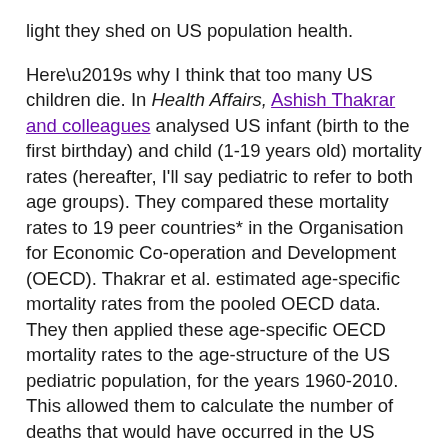light they shed on US population health.
Here’s why I think that too many US children die. In Health Affairs, Ashish Thakrar and colleagues analysed US infant (birth to the first birthday) and child (1-19 years old) mortality rates (hereafter, I’ll say pediatric to refer to both age groups). They compared these mortality rates to 19 peer countries* in the Organisation for Economic Co-operation and Development (OECD). Thakrar et al. estimated age-specific mortality rates from the pooled OECD data. They then applied these age-specific OECD mortality rates to the age-structure of the US pediatric population, for the years 1960-2010. This allowed them to calculate the number of deaths that would have occurred in the US during these years if, counterfactually, the US had had the mortality rates of the OECD. The counterfactual death counts based on the OECD mortality rates were lower, which, conversely